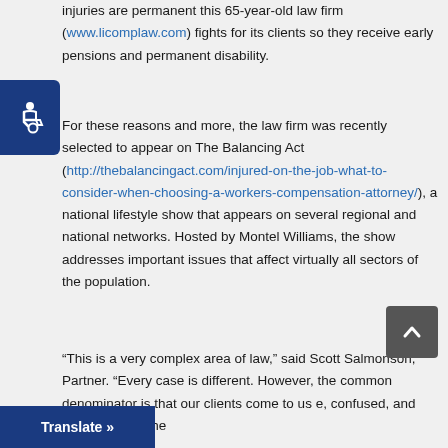injuries are permanent this 65-year-old law firm (www.licomplaw.com) fights for its clients so they receive early pensions and permanent disability.
For these reasons and more, the law firm was recently selected to appear on The Balancing Act (http://thebalancingact.com/injured-on-the-job-what-to-consider-when-choosing-a-workers-compensation-attorney/), a national lifestyle show that appears on several regional and national networks. Hosted by Montel Williams, the show addresses important issues that affect virtually all sectors of the population.
“This is a very complex area of law,” said Scott Salmonson, Partner. “Every case is different. However, the common denominator is that our clients come to us [scared], confused, and worried about the